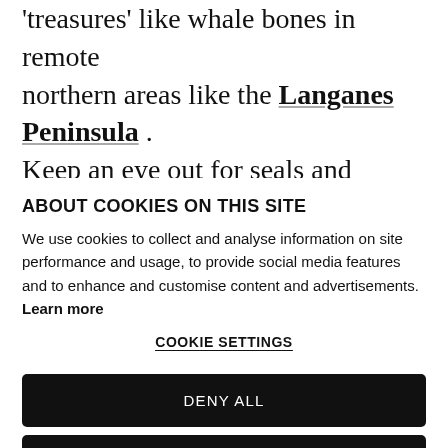'treasures' like whale bones in remote northern areas like the Langanes Peninsula . Keep an eye out for seals and birdlife, particularly on the north coast. While most
ABOUT COOKIES ON THIS SITE
We use cookies to collect and analyse information on site performance and usage, to provide social media features and to enhance and customise content and advertisements. Learn more
COOKIE SETTINGS
DENY ALL
ALLOW ALL COOKIES